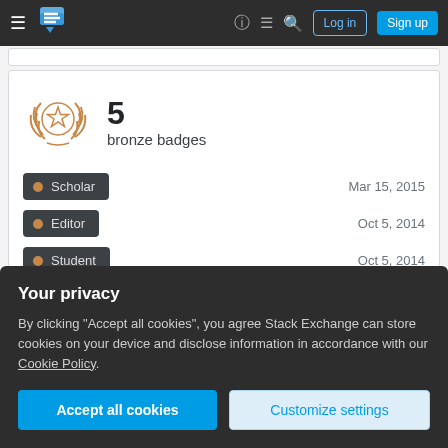Stack Exchange navigation bar with Log in and Sign up buttons
[Figure (screenshot): Stack Exchange logo - layered chat bubble icon in teal/blue]
5
bronze badges
Scholar   Mar 15, 2015
Editor   Oct 5, 2014
Student   Oct 5, 2014
Bookmarks
Your privacy
By clicking "Accept all cookies", you agree Stack Exchange can store cookies on your device and disclose information in accordance with our Cookie Policy.
Accept all cookies   Customize settings